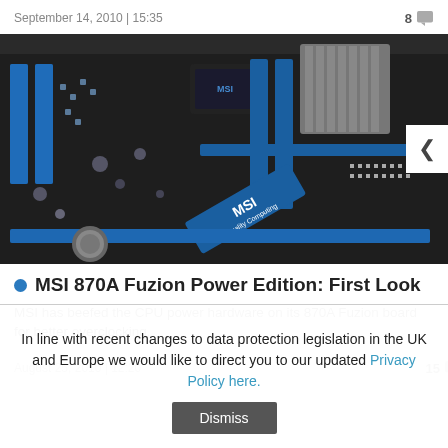September 14, 2010 | 15:35    8
[Figure (photo): Close-up photo of an MSI 870A Fuzion motherboard with blue RAM slots and black PCB with blue accents, MSI logo visible]
MSI 870A Fuzion Power Edition: First Look
MSI has beefed the CPU power hardware on its 870A Fuzion board for better overclocking.
August 25, 2010 | 12:20    15
In line with recent changes to data protection legislation in the UK and Europe we would like to direct you to our updated Privacy Policy here.
Dismiss